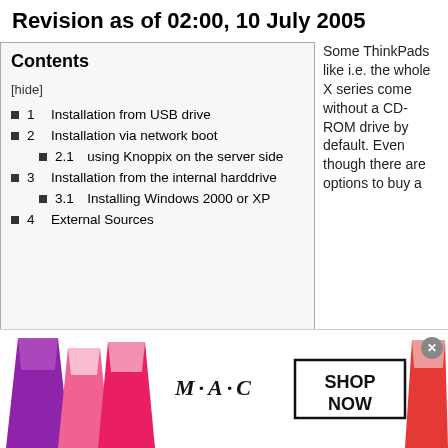Revision as of 02:00, 10 July 2005
Contents
[hide]
1  Installation from USB drive
2  Installation via network boot
2.1  using Knoppix on the server side
3  Installation from the internal harddrive
3.1  Installing Windows 2000 or XP
4  External Sources
Some ThinkPads like i.e. the whole X series come without a CD-ROM drive by default. Even though there are options to buy a
[Figure (screenshot): Advertisement banner for M·A·C cosmetics showing lipsticks and a SHOP NOW button, with an infolinks bar above it.]